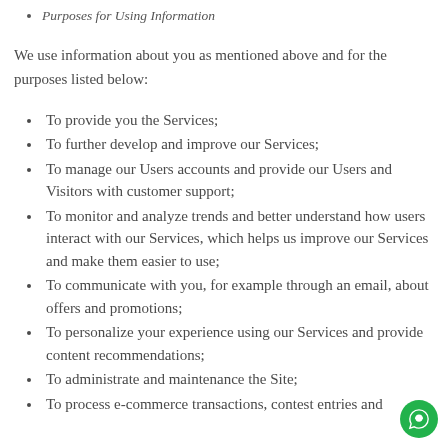Purposes for Using Information
We use information about you as mentioned above and for the purposes listed below:
To provide you the Services;
To further develop and improve our Services;
To manage our Users accounts and provide our Users and Visitors with customer support;
To monitor and analyze trends and better understand how users interact with our Services, which helps us improve our Services and make them easier to use;
To communicate with you, for example through an email, about offers and promotions;
To personalize your experience using our Services and provide content recommendations;
To administrate and maintenance the Site;
To process e-commerce transactions, contest entries and